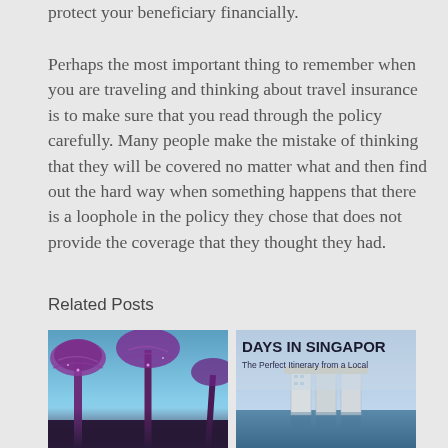protect your beneficiary financially.
Perhaps the most important thing to remember when you are traveling and thinking about travel insurance is to make sure that you read through the policy carefully. Many people make the mistake of thinking that they will be covered no matter what and then find out the hard way when something happens that there is a loophole in the policy they chose that does not provide the coverage that they thought they had.
Related Posts
[Figure (photo): Photo of Singapore Gardens by the Bay supertrees, purple-lit structures against a blue sky]
[Figure (photo): Photo of Marina Bay Sands Singapore with text overlay: DAYS IN SINGAPOR, The Perfect Itinerary from a Local]